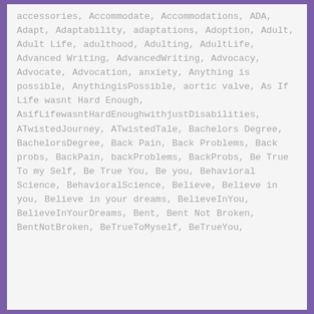accessories, Accommodate, Accommodations, ADA, Adapt, Adaptability, adaptations, Adoption, Adult, Adult Life, adulthood, Adulting, AdultLife, Advanced Writing, AdvancedWriting, Advocacy, Advocate, Advocation, anxiety, Anything is possible, AnythingisPossible, aortic valve, As If Life wasnt Hard Enough, AsifLifewasntHardEnoughwithjustDisabilities, ATwistedJourney, ATwistedTale, Bachelors Degree, BachelorsDegree, Back Pain, Back Problems, Back probs, BackPain, backProblems, BackProbs, Be True To my Self, Be True You, Be you, Behavioral Science, BehavioralScience, Believe, Believe in you, Believe in your dreams, BelieveInYou, BelieveInYourDreams, Bent, Bent Not Broken, BentNotBroken, BeTrueToMyself, BeTrueYou,